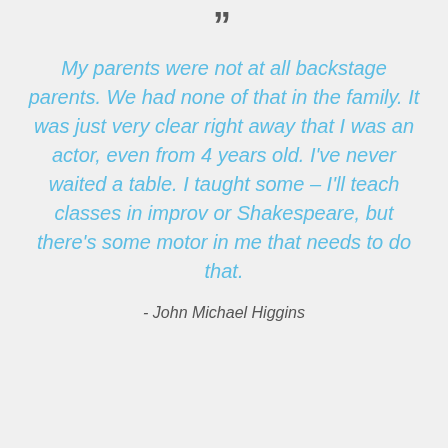[Figure (illustration): Large decorative quotation mark symbol at the top center of the page]
My parents were not at all backstage parents. We had none of that in the family. It was just very clear right away that I was an actor, even from 4 years old. I’ve never waited a table. I taught some – I’ll teach classes in improv or Shakespeare, but there’s some motor in me that needs to do that.
- John Michael Higgins